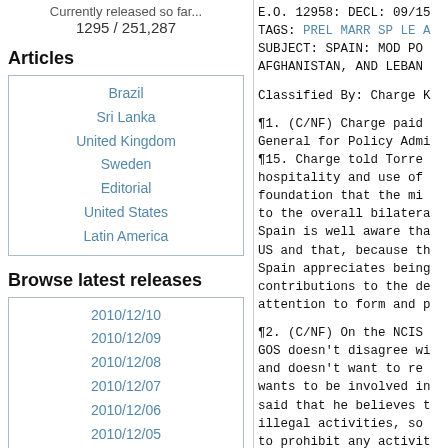Currently released so far...
1295 / 251,287
Articles
Brazil
Sri Lanka
United Kingdom
Sweden
Editorial
United States
Latin America
Browse latest releases
2010/12/10
2010/12/09
2010/12/08
2010/12/07
2010/12/06
2010/12/05
2010/12/04
2010/12/03
2010/12/02
2010/12/01
2010/11/30
E.O. 12958: DECL: 09/15
TAGS: PREL MARR SP LE A
SUBJECT: SPAIN: MOD PO
AFGHANISTAN, AND LEBAN

Classified By: Charge K

¶1. (C/NF) Charge paid
General for Policy Admi
¶15. Charge told Torre
hospitality and use of
foundation that the mi
to the overall bilatera
Spain is well aware tha
US and that, because th
Spain appreciates being
contributions to the de
attention to form and p

¶2. (C/NF) On the NCIS
GOS doesn't disagree wi
and doesn't want to re
wants to be involved in
said that he believes t
illegal activities, so
to prohibit any activit
tricky issue for the GO
mixed up NCIS/OSI with
radical parties that a
legislative partners in